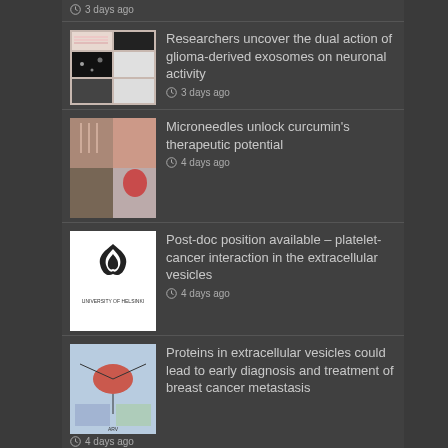3 days ago
Researchers uncover the dual action of glioma-derived exosomes on neuronal activity
3 days ago
Microneedles unlock curcumin's therapeutic potential
4 days ago
Post-doc position available – platelet-cancer interaction in the extracellular vesicles
4 days ago
Proteins in extracellular vesicles could lead to early diagnosis and treatment of breast cancer metastasis
4 days ago
Characterizing extracellular vesicles using nanoparticle-tracking analysis